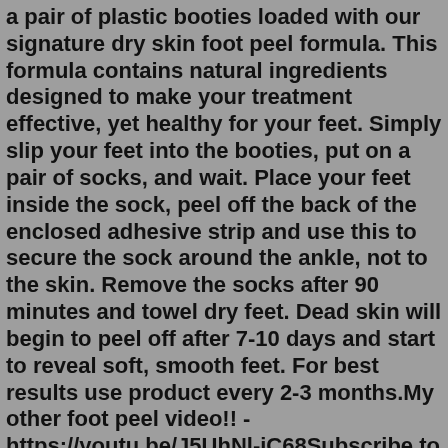a pair of plastic booties loaded with our signature dry skin foot peel formula. This formula contains natural ingredients designed to make your treatment effective, yet healthy for your feet. Simply slip your feet into the booties, put on a pair of socks, and wait. Place your feet inside the sock, peel off the back of the enclosed adhesive strip and use this to secure the sock around the ankle, not to the skin. Remove the socks after 90 minutes and towel dry feet. Dead skin will begin to peel off after 7-10 days and start to reveal soft, smooth feet. For best results use product every 2-3 months.My other foot peel video!! - https://youtu.be/J5UhNl-iC68Subscribe to my OnlyFans @Tattletoes for more foot peeling content!Have you ever wanted to try a foo... Your feet should start to peel about 4 days later and reveal smoother feet. Best For: Dry or cracked and callused feet. Where to Buy: Asos. Price: $13.00. #10 Leaders I Peel Good! Foot Peeling Mask. This mask is made with naturally exfoliating botanicals which gently remove dead skin cells from the feet.My other foot...